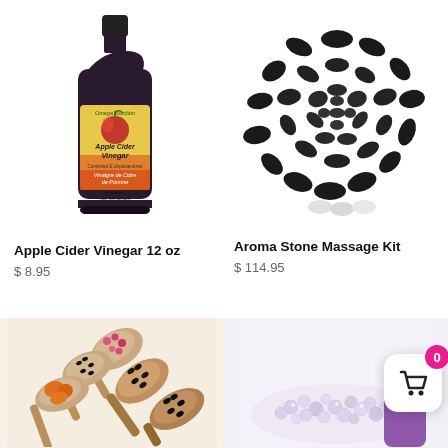[Figure (photo): Apple Cider Vinegar 12 oz bottle by Omega Nutrition]
[Figure (photo): Aroma Stone Massage Kit - black massage stones arranged in a circle on white background]
Apple Cider Vinegar 12 oz
$ 8.95
Aroma Stone Massage Kit
$ 114.95
[Figure (photo): Wooden spoons with various spices and herbs]
[Figure (photo): Crystal or bead-like granules product]
[Figure (other): Cart icon button with badge showing 0 items]